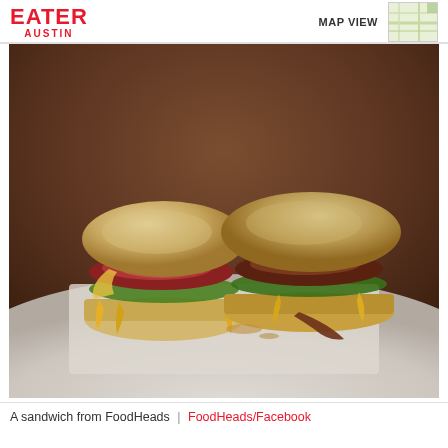EATER AUSTIN
[Figure (map): Small map thumbnail in top right corner]
[Figure (photo): Photo of two burger sandwiches cut in half showing meat, cheese, and greens, placed on white paper on a plate, with a warm brown blurred background. From FoodHeads restaurant.]
A sandwich from FoodHeads | FoodHeads/Facebook